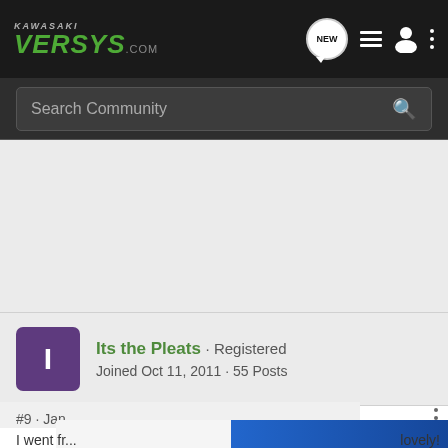KAWASAKI VERSYS.com
Search Community
[Figure (screenshot): Gray background area representing advertisement or blank content space]
Its the Pleats · Registered
Joined Oct 11, 2011 · 55 Posts
#9 · Jan
[Figure (photo): Suzuki GSX-S1000 GT advertisement banner showing motorcycle and 'SEE IT NOW' button]
I went fr... lovely!